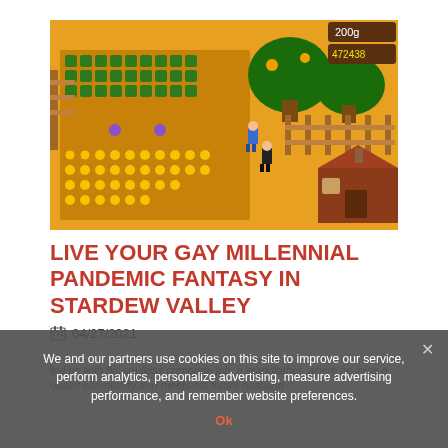[Figure (screenshot): Stardew Valley game screenshot showing a top-down farm scene with crops (green plants and sunflowers), trees, fences, a red-roofed building, and two player characters on an orange/amber colored ground. HUD elements visible in top right corner showing '200g' and '472438'.]
LIVE YOUR GAY MILLENNIAL PANDEMIC FANTASY IN STARDEW VALLEY
04/27/2021
fed up with his soulless corporate job, a grandfather, where he joins a quaint community and meets his future husband
We and our partners use cookies on this site to improve our service, perform analytics, personalize advertising, measure advertising performance, and remember website preferences.